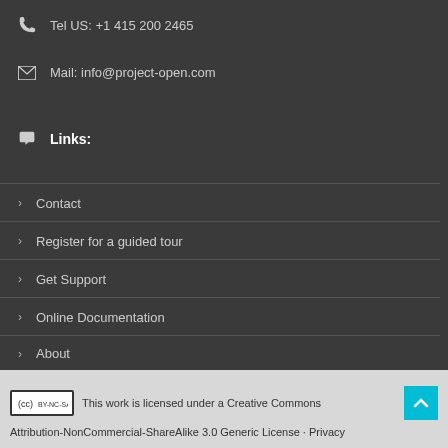Tel US: +1 415 200 2465
Mail: info@project-open.com
Links:
Contact
Register for a guided tour
Get Support
Online Documentation
About
This work is licensed under a Creative Commons Attribution-NonCommercial-ShareAlike 3.0 Generic License · Privacy